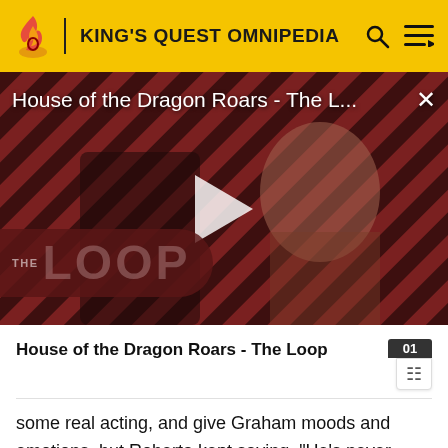KING'S QUEST OMNIPEDIA
[Figure (screenshot): Video thumbnail for 'House of the Dragon Roars - The L...' with a play button overlay, showing two characters against a red diagonal striped background and 'THE LOOP' branding in the lower left corner.]
House of the Dragon Roars - The Loop
some real acting, and give Graham moods and emotions, but Roberta kept saying, "He's never tired, he's King Graham!" or "He's never worried, he's King Graham!". So I